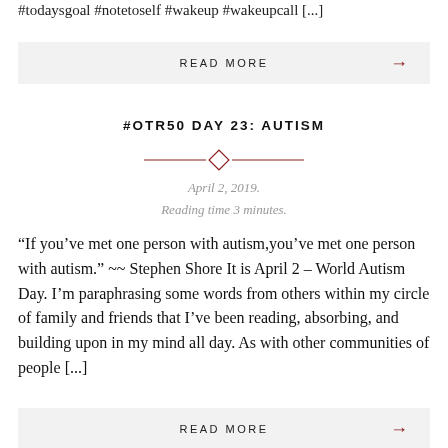#todaysgoal #notetoself #wakeup #wakeupcall [...]
READ MORE →
#OTR50 DAY 23: AUTISM
April 2, 2019.
Reading time 3 minutes.
“If you’ve met one person with autism,you’ve met one person with autism.” ~~ Stephen Shore It is April 2 – World Autism Day. I’m paraphrasing some words from others within my circle of family and friends that I’ve been reading, absorbing, and building upon in my mind all day. As with other communities of people [...]
READ MORE →